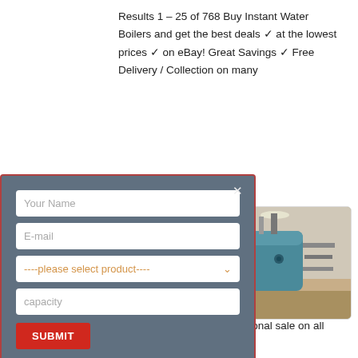Results 1 – 25 of 768 Buy Instant Water Boilers and get the best deals ✓ at the lowest prices ✓ on eBay! Great Savings ✓ Free Delivery / Collection on many
[Figure (screenshot): Modal form overlay with dark blue-grey background and red border containing fields: Your Name, E-mail, a product selector dropdown (----please select product----), capacity input, and a red SUBMIT button. A close X is at top right.]
[Figure (photo): Photo of a large industrial blue boiler/tank in a warehouse setting, with pipes and industrial equipment visible.]
Buy Morgan Instant Boiler MIB-6617 (4.5L) Hot Water Dispenser online at Lazada Malaysia. Discount prices and promotional sale on all Thermo Pots.